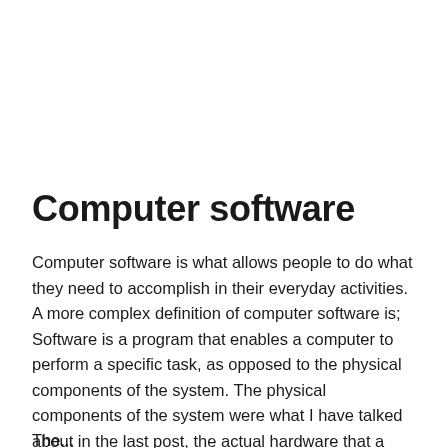Computer software
Computer software is what allows people to do what they need to accomplish in their everyday activities. A more complex definition of computer software is; Software is a program that enables a computer to perform a specific task, as opposed to the physical components of the system. The physical components of the system were what I have talked about in the last post, the actual hardware that a person can physically touch.
The...